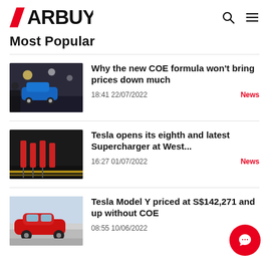CARBUYER
Most Popular
[Figure (photo): Car exhibition with blue BMW on display]
Why the new COE formula won't bring prices down much
18:41 22/07/2022
News
[Figure (photo): Tesla Supercharger station]
Tesla opens its eighth and latest Supercharger at West...
16:27 01/07/2022
News
[Figure (photo): Red Tesla Model Y driving on road]
Tesla Model Y priced at S$142,271 and up without COE
08:55 10/06/2022